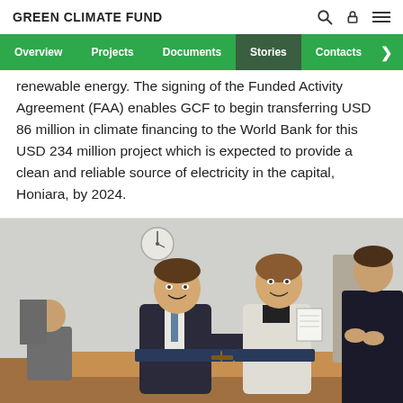GREEN CLIMATE FUND
renewable energy. The signing of the Funded Activity Agreement (FAA) enables GCF to begin transferring USD 86 million in climate financing to the World Bank for this USD 234 million project which is expected to provide a clean and reliable source of electricity in the capital, Honiara, by 2024.
[Figure (photo): Two people shaking hands at a table in an office setting, smiling and holding a document. Other people are visible in the background applauding. There is a clock on the wall.]